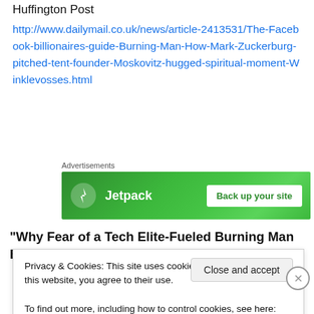The Facebook Billionaires' Guide to Burning Man – Huffington Post
http://www.dailymail.co.uk/news/article-2413531/The-Facebook-billionaires-guide-Burning-Man-How-Mark-Zuckerburg-pitched-tent-founder-Moskovitz-hugged-spiritual-moment-Winklevosses.html
[Figure (screenshot): Jetpack advertisement banner: green background with Jetpack logo and 'Back up your site' button]
“Why Fear of a Tech Elite-Fueled Burning Man Burnout is Sooo Wrong” – CNET
Privacy & Cookies: This site uses cookies. By continuing to use this website, you agree to their use.
To find out more, including how to control cookies, see here: Cookie Policy
Close and accept